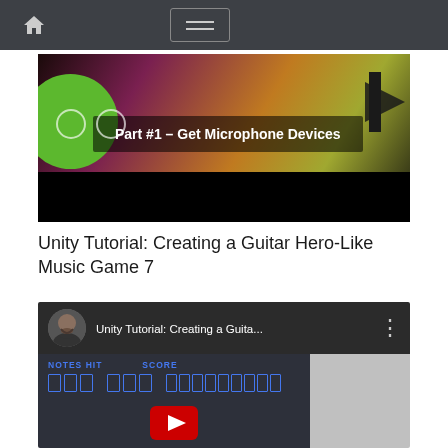Navigation bar with home icon and menu button
[Figure (screenshot): Video thumbnail showing 'Part #1 - Get Microphone Devices' with green circle icon and colorful abstract background]
Unity Tutorial: Creating a Guitar Hero-Like Music Game 7
[Figure (screenshot): YouTube video embed showing Unity Tutorial: Creating a Guita... with a Unity editor screenshot showing NOTES HIT, and SCORE displays with placeholder boxes, and a YouTube play button overlay]